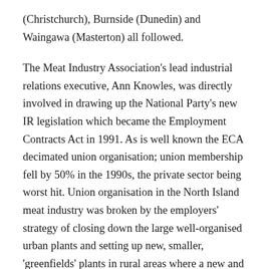(Christchurch), Burnside (Dunedin) and Waingawa (Masterton) all followed.
The Meat Industry Association's lead industrial relations executive, Ann Knowles, was directly involved in drawing up the National Party's new IR legislation which became the Employment Contracts Act in 1991. As is well known the ECA decimated union organisation; union membership fell by 50% in the 1990s, the private sector being worst hit. Union organisation in the North Island meat industry was broken by the employers' strategy of closing down the large well-organised urban plants and setting up new, smaller, 'greenfields' plants in rural areas where a new and largely inexperienced workforce was recruited. Workers were hired on individual contracts, completely sidelining the union. This situation didn't